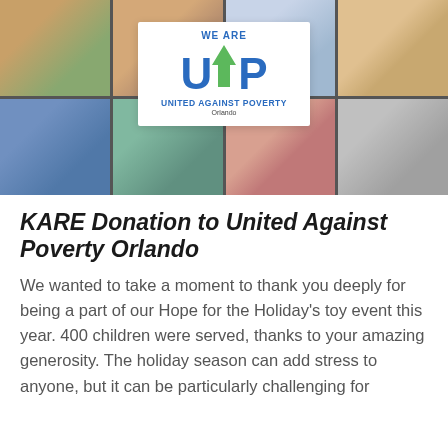[Figure (photo): Photo collage of people at United Against Poverty Orlando events, with the UP logo (We Are United Against Poverty Orlando) overlaid in the center on a white background]
KARE Donation to United Against Poverty Orlando
We wanted to take a moment to thank you deeply for being a part of our Hope for the Holiday's toy event this year. 400 children were served, thanks to your amazing generosity. The holiday season can add stress to anyone, but it can be particularly challenging for